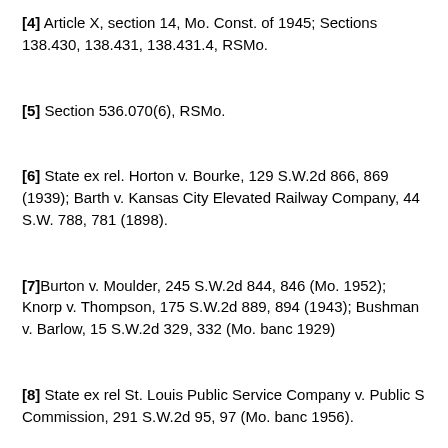[4] Article X, section 14, Mo. Const. of 1945; Sections 138.430, 138.431, 138.431.4, RSMo.
[5] Section 536.070(6), RSMo.
[6] State ex rel. Horton v. Bourke, 129 S.W.2d 866, 869 (1939); Barth v. Kansas City Elevated Railway Company, 44 S.W. 788, 781 (1898).
[7]Burton v. Moulder, 245 S.W.2d 844, 846 (Mo. 1952); Knorp v. Thompson, 175 S.W.2d 889, 894 (1943); Bushman v. Barlow, 15 S.W.2d 329, 332 (Mo. banc 1929)
[8] State ex rel St. Louis Public Service Company v. Public S… Commission, 291 S.W.2d 95, 97 (Mo. banc 1956).